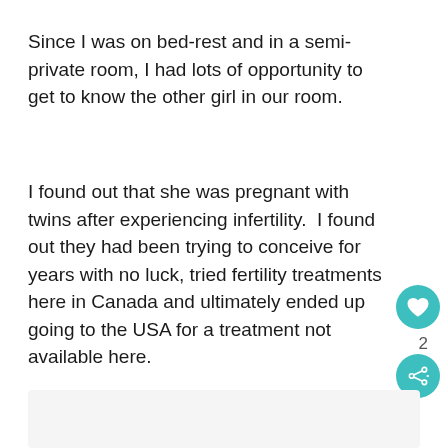Since I was on bed-rest and in a semi-private room, I had lots of opportunity to get to know the other girl in our room.
I found out that she was pregnant with twins after experiencing infertility.  I found out they had been trying to conceive for years with no luck, tried fertility treatments here in Canada and ultimately ended up going to the USA for a treatment not available here.